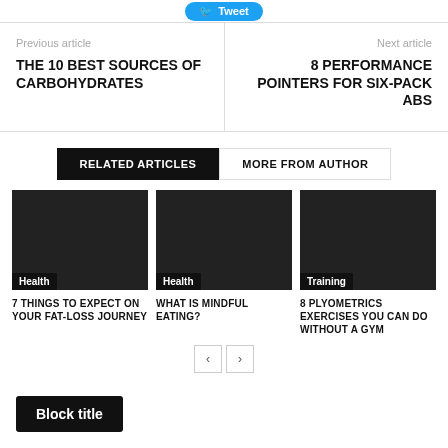[Figure (other): Twitter Tweet button at top]
Previous article
THE 10 BEST SOURCES OF CARBOHYDRATES
Next article
8 PERFORMANCE POINTERS FOR SIX-PACK ABS
RELATED ARTICLES
MORE FROM AUTHOR
[Figure (other): Article card image – Health category – 7 THINGS TO EXPECT ON YOUR FAT-LOSS JOURNEY]
[Figure (other): Article card image – Health category – WHAT IS MINDFUL EATING?]
[Figure (other): Article card image – Training category – 8 PLYOMETRICS EXERCISES YOU CAN DO WITHOUT A GYM]
Block title